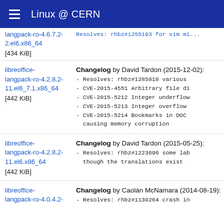Linux @ CERN
langpack-ro-4.6.7.2-2.el6.x86_64
[434 KiB]
Changelog by David Tardon (2015-12-02): - Resolves: rhbz#1285818 various - CVE-2015-4551 Arbitrary file di - CVE-2015-5212 Integer underflow - CVE-2015-5213 Integer overflow - CVE-2015-5214 Bookmarks in DOC causing memory corruption
libreoffice-langpack-ro-4.2.8.2-11.el6_7.1.x86_64
[442 KiB]
Changelog by David Tardon (2015-05-25): - Resolves: rhbz#1223696 some lab though the translations exist
libreoffice-langpack-ro-4.2.8.2-11.el6.x86_64
[442 KiB]
Changelog by Caolán McNamara (2014-08-19): - Resolves: rhbz#1130264 crash in
libreoffice-langpack-ro-4.0.4.2-